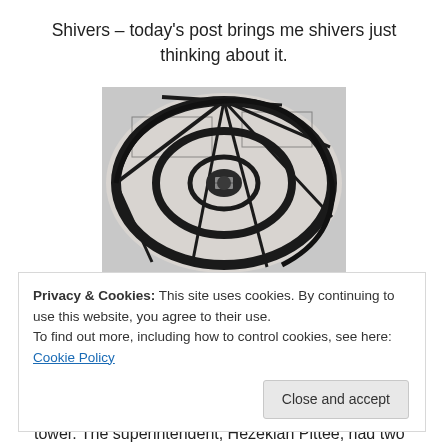Shivers – today's post brings me shivers just thinking about it.
[Figure (photo): Aerial/top-down view of a spiral staircase inside a lighthouse tower, showing iron metalwork steps winding down in a helix, black and white tones, with a small window visible at the bottom of the spiral.]
Today, I want to concentrate on something close to our
Privacy & Cookies: This site uses cookies. By continuing to use this website, you agree to their use.
To find out more, including how to control cookies, see here: Cookie Policy
tower. The superintendent, Hezekiah Pittee, had two